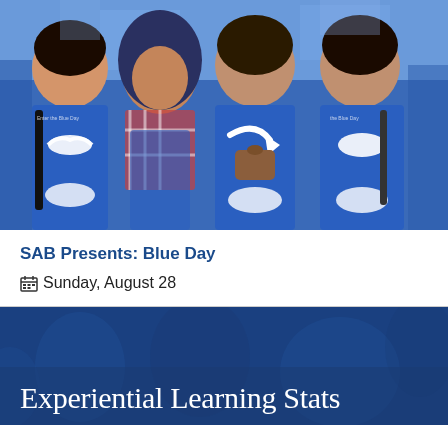[Figure (photo): Four smiling young women wearing blue t-shirts with white mustache/cloud designs at an outdoor event (Blue Day). One is wearing a hijab and a plaid scarf.]
SAB Presents: Blue Day
Sunday, August 28
Experiential Learning Stats